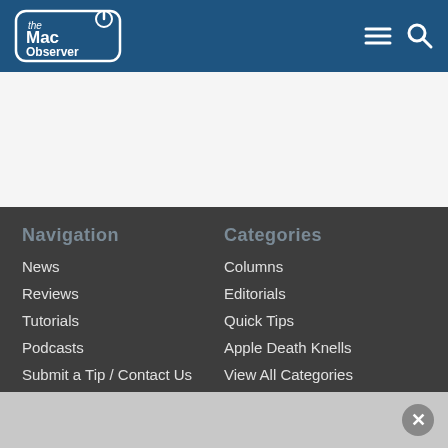The Mac Observer
Navigation
Categories
News
Reviews
Tutorials
Podcasts
Submit a Tip / Contact Us
About Us
Columns
Editorials
Quick Tips
Apple Death Knells
View All Categories